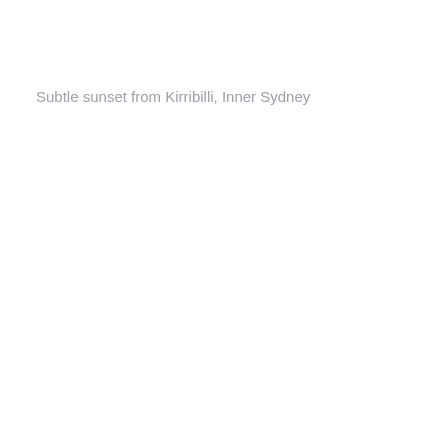Subtle sunset from Kirribilli, Inner Sydney